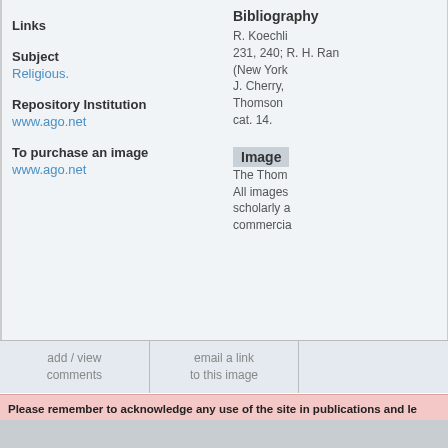Links
Subject
Religious.
Repository Institution
www.ago.net
To purchase an image
www.ago.net
Bibliography
R. Koechli... 231, 240; R. H. Rand... (New York... J. Cherry, Thomson... cat. 14.
Image
The Thom...
All images... scholarly a... commercia...
add / view comments
email a link to this image
Please remember to acknowledge any use of the site in publications and le... Institute of Art, London, www.gothicivories.courtauld.ac.uk', followed by th...